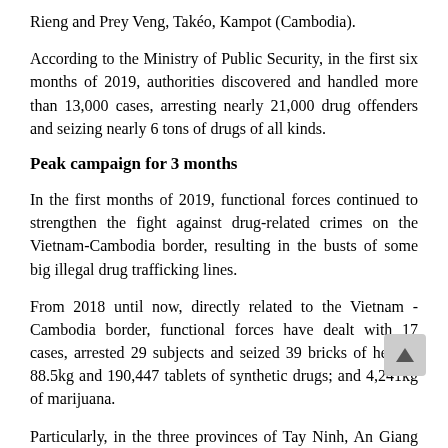Rieng and Prey Veng, Takéo, Kampot (Cambodia).
According to the Ministry of Public Security, in the first six months of 2019, authorities discovered and handled more than 13,000 cases, arresting nearly 21,000 drug offenders and seizing nearly 6 tons of drugs of all kinds.
Peak campaign for 3 months
In the first months of 2019, functional forces continued to strengthen the fight against drug-related crimes on the Vietnam-Cambodia border, resulting in the busts of some big illegal drug trafficking lines.
From 2018 until now, directly related to the Vietnam - Cambodia border, functional forces have dealt with 17 cases, arrested 29 subjects and seized 39 bricks of heroin; 88.5kg and 190,447 tablets of synthetic drugs; and 4,241kg of marijuana.
Particularly, in the three provinces of Tay Ninh, An Giang and Kien Giang officers detected and handled 12 cases